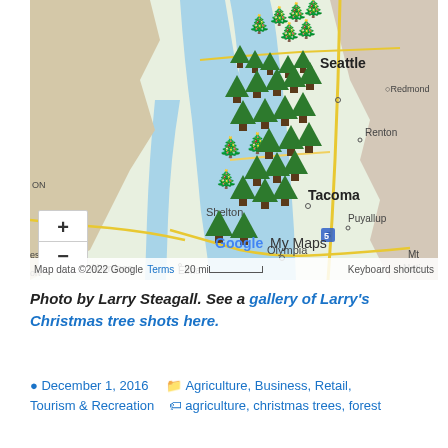[Figure (map): Google My Maps showing Christmas tree farm locations in western Washington state, with tree emoji markers clustered between Seattle, Tacoma, Shelton, and Olympia areas. Cities labeled include Seattle, Redmond, Renton, Tacoma, Puyallup, Shelton, Olympia, Elma, Aberdeen. Map data ©2022 Google. Scale: 20 mi.]
Photo by Larry Steagall. See a gallery of Larry's Christmas tree shots here.
© December 1, 2016   🗂 Agriculture, Business, Retail, Tourism & Recreation   🏷 agriculture, christmas trees, forest